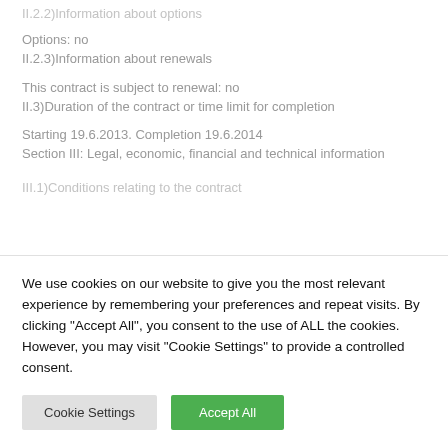II.2.2)Information about options
Options: no
II.2.3)Information about renewals
This contract is subject to renewal: no
II.3)Duration of the contract or time limit for completion
Starting 19.6.2013. Completion 19.6.2014
Section III: Legal, economic, financial and technical information
III.1)Conditions relating to the contract
We use cookies on our website to give you the most relevant experience by remembering your preferences and repeat visits. By clicking "Accept All", you consent to the use of ALL the cookies. However, you may visit "Cookie Settings" to provide a controlled consent.